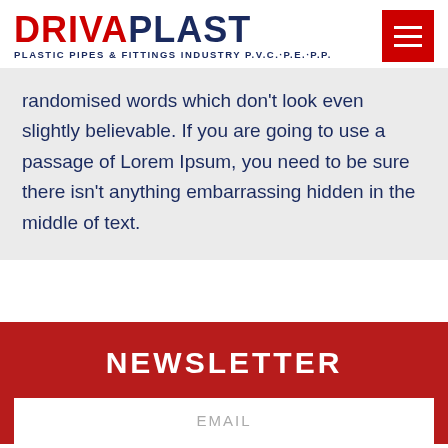DRIVAPLAST — PLASTIC PIPES & FITTINGS INDUSTRY P.V.C.·P.E.·P.P.
randomised words which don't look even slightly believable. If you are going to use a passage of Lorem Ipsum, you need to be sure there isn't anything embarrassing hidden in the middle of text.
NEWSLETTER
EMAIL